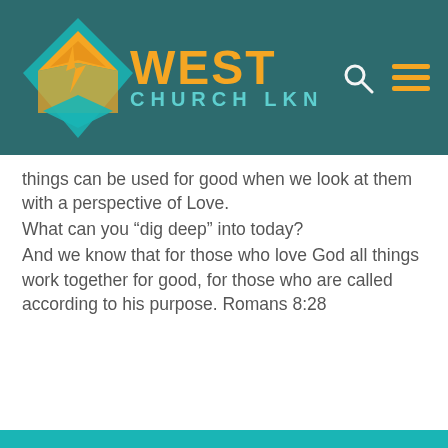West Church LKN
things can be used for good when we look at them with a perspective of Love.
What can you “dig deep” into today?
And we know that for those who love God all things work together for good, for those who are called according to his purpose. Romans 8:28
©2022 – West Church LKN